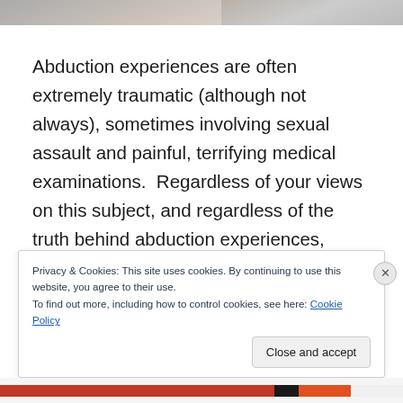[Figure (photo): Partial photo strip at top of page showing two images side by side, cropped at the top]
Abduction experiences are often extremely traumatic (although not always), sometimes involving sexual assault and painful, terrifying medical examinations.  Regardless of your views on this subject, and regardless of the truth behind abduction experiences, there is no doubt in my mind (I say this as someone who has professional insight
Privacy & Cookies: This site uses cookies. By continuing to use this website, you agree to their use.
To find out more, including how to control cookies, see here: Cookie Policy
Close and accept